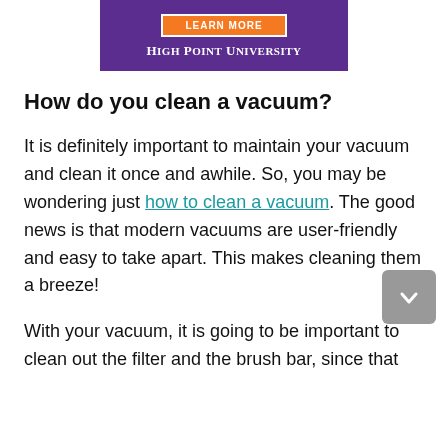[Figure (other): High Point University advertisement banner with purple background, orange 'LEARN MORE' button, and white text reading 'HIGH POINT UNIVERSITY']
How do you clean a vacuum?
It is definitely important to maintain your vacuum and clean it once and awhile. So, you may be wondering just how to clean a vacuum. The good news is that modern vacuums are user-friendly and easy to take apart. This makes cleaning them a breeze!
With your vacuum, it is going to be important to clean out the filter and the brush bar, since that